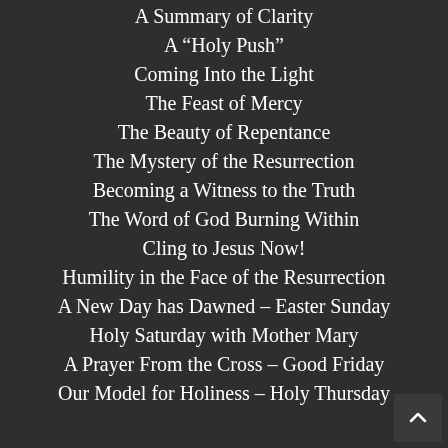A Summary of Clarity
A “Holy Push”
Coming Into the Light
The Feast of Mercy
The Beauty of Repentance
The Mystery of the Resurrection
Becoming a Witness to the Truth
The Word of God Burning Within
Cling to Jesus Now!
Humility in the Face of the Resurrection
A New Day has Dawned – Easter Sunday
Holy Saturday with Mother Mary
A Prayer From the Cross – Good Friday
Our Model for Holiness – Holy Thursday